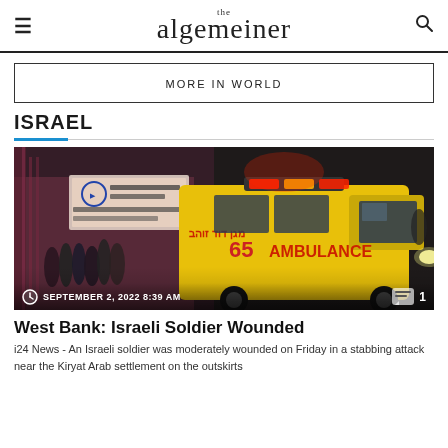the algemeiner
MORE IN WORLD
ISRAEL
[Figure (photo): An Israeli ambulance (number 65) with flashing lights at night, with people gathered in the background near a building with Hebrew text signage.]
SEPTEMBER 2, 2022 8:39 AM   1
West Bank: Israeli Soldier Wounded
i24 News - An Israeli soldier was moderately wounded on Friday in a stabbing attack near the Kiryat Arab settlement on the outskirts